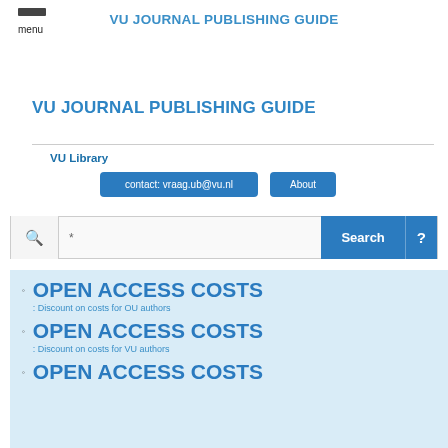menu
VU JOURNAL PUBLISHING GUIDE
VU JOURNAL PUBLISHING GUIDE
VU Library
contact: vraag.ub@vu.nl
About
* Search ?
OPEN ACCESS COSTS : Discount on costs for OU authors
OPEN ACCESS COSTS : Discount on costs for VU authors
OPEN ACCESS COSTS